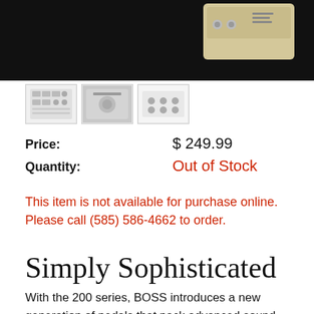[Figure (photo): Product photo of a BOSS 200 series pedal on a black background]
[Figure (photo): Three thumbnail images of the product from different angles]
Price: $ 249.99
Quantity: Out of Stock
This item is not available for purchase online. Please call (585) 586-4662 to order.
Simply Sophisticated
With the 200 series, BOSS introduces a new generation of pedals that pack advanced sound